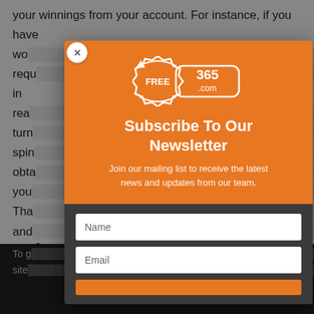your winnings from your account. For instance, if you have wo... requ... 0 in rea... turn... ee spin... obta... you... o. Tha... rms and...
Ad...
To g... our site... cy.
[Figure (screenshot): Newsletter subscription modal popup from Free365.com. Orange top section with logo showing 'FREE' badge and '365.com' text with circular arrows. Title: 'Subscribe To Our Newsletter'. Subtitle: 'Join our mailing list to receive the latest news and updates from our team.' Dark bottom section with Name and Email input fields and an orange submit button. Close button (X) in top-left corner.]